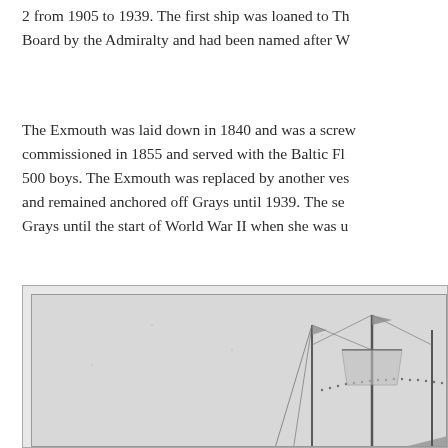2 from 1905 to 1939. The first ship was loaned to Th Board by the Admiralty and had been named after W
The Exmouth was laid down in 1840 and was a screw commissioned in 1855 and served with the Baltic Fl 500 boys. The Exmouth was replaced by another ve and remained anchored off Grays until 1939. The se Grays until the start of World War II when she was u
[Figure (illustration): A historical illustration showing a sailing ship with masts and rigging, rendered in a sketch or engraving style with dotted lines indicating rigging. The image is cropped showing the lower portion of the vessel.]